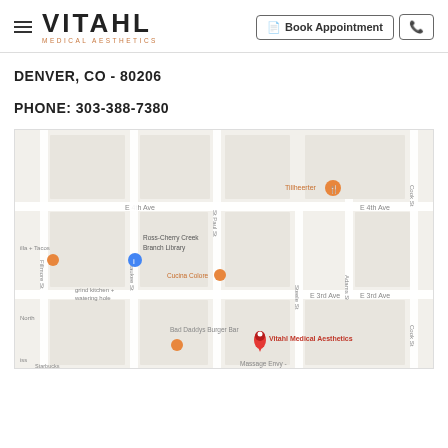VITAHL MEDICAL AESTHETICS — Book Appointment
DENVER, CO - 80206
PHONE: 303-388-7380
[Figure (map): Google Maps showing Vitahl Medical Aesthetics location near E 3rd Ave in Denver, CO. Nearby landmarks include Ross-Cherry Creek Branch Library, Cucina Colore, Bad Daddys Burger Bar, Massage Envy, grind kitchen + watering hole, Fillmore St, Milwaukee St, St Paul St, Adams St, Cook St, E 4th Ave, E 3rd Ave.]